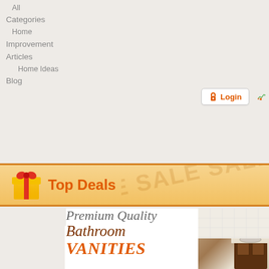All
Categories
Home
Improvement
Articles
Home Ideas
Blog
[Figure (screenshot): Login button with padlock icon and 'Login' text in orange]
[Figure (screenshot): For Retailers: How to sell with arrow/chart icon]
[Figure (logo): Barefoot Floor - Comparison Shopping logo with shopping bag icon]
Find the Product >
[Figure (illustration): Gift box icon with red bow]
Top Deals
Premium Quality Bathroom VANITIES